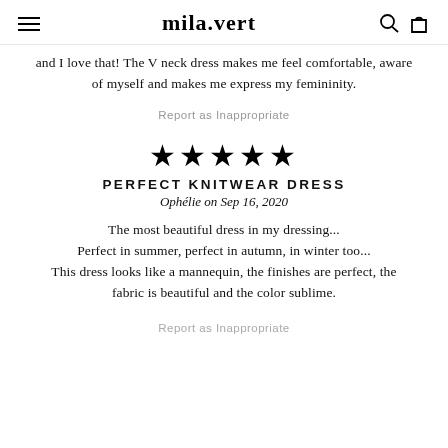mila.vert
and I love that! The V neck dress makes me feel comfortable, aware of myself and makes me express my femininity.
Report as Inappropriate
[Figure (other): Five black star rating icons]
PERFECT KNITWEAR DRESS
Ophélie on Sep 16, 2020
The most beautiful dress in my dressing... Perfect in summer, perfect in autumn, in winter too... This dress looks like a mannequin, the finishes are perfect, the fabric is beautiful and the color sublime.
Report as Inappropriate